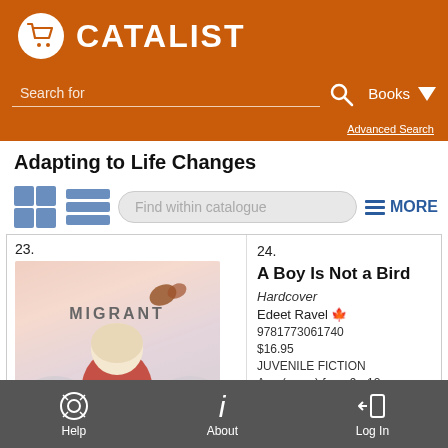[Figure (logo): Catalist logo with shopping cart icon in white circle on orange background]
Search for
Books
Advanced Search
Adapting to Life Changes
Find within catalogue
MORE
23.
[Figure (illustration): Book cover for MIGRANT showing a child in red cape looking up at a butterfly, with soft background colors]
24.
A Boy Is Not a Bird
Hardcover
Edeet Ravel
9781773061740
$16.95
JUVENILE FICTION
Age (years) from 9 - 12
Help   About   Log In